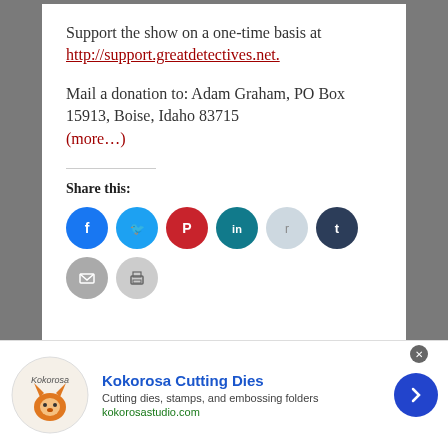Support the show on a one-time basis at http://support.greatdetectives.net.
Mail a donation to: Adam Graham, PO Box 15913, Boise, Idaho 83715
(more…)
Share this:
[Figure (infographic): Row of social share icon circles: Facebook (blue), Twitter (light blue), Pinterest (red), LinkedIn (teal), Reddit (light blue/gray), Tumblr (dark navy), Email (gray), Print (light gray)]
[Figure (infographic): Advertisement banner for Kokorosa Cutting Dies with fox logo, blue title, description text 'Cutting dies, stamps, and embossing folders', URL kokorosastudio.com, and blue arrow button. Close X button in top right.]